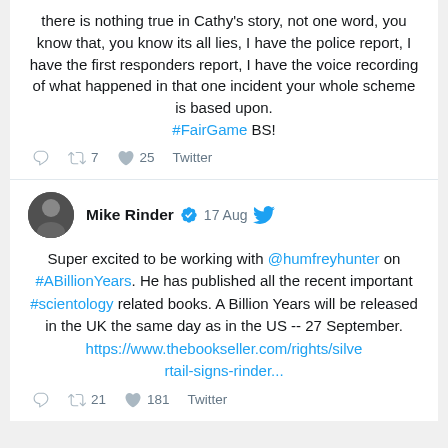there is nothing true in Cathy's story, not one word, you know that, you know its all lies, I have the police report, I have the first responders report, I have the voice recording of what happened in that one incident your whole scheme is based upon. #FairGame BS!
Reply Retweet 7 Like 25 Twitter
Mike Rinder verified 17 Aug Twitter
Super excited to be working with @humfreyhunter on #ABillionYears. He has published all the recent important #scientology related books. A Billion Years will be released in the UK the same day as in the US -- 27 September. https://www.thebookseller.com/rights/silvertail-signs-rinder...
Reply Retweet 21 Like 181 Twitter